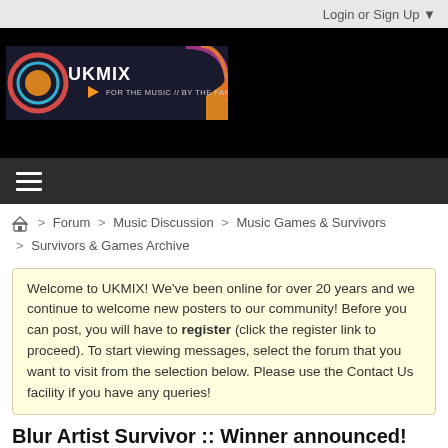Login or Sign Up ▼
[Figure (logo): UKMIX logo banner: circular colorful logo with UKMIX text, orange play arrow, text 'FOR THE MUSIC // BY THE FANS', colorful geometric shapes on dark background]
≡ (hamburger menu icon)
🏠 > Forum > Music Discussion > Music Games & Survivors > Survivors & Games Archive
Welcome to UKMIX! We've been online for over 20 years and we continue to welcome new posters to our community! Before you can post, you will have to register (click the register link to proceed). To start viewing messages, select the forum that you want to visit from the selection below. Please use the Contact Us facility if you have any queries!
Blur Artist Survivor :: Winner announced!
+ More Options ✔